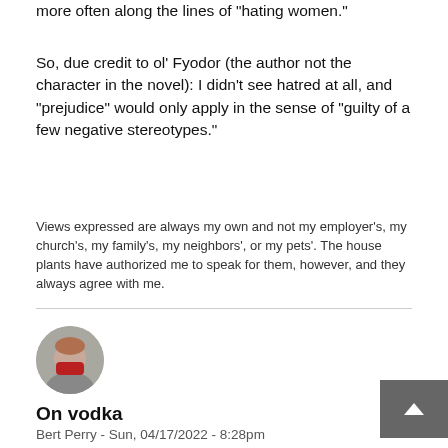more often along the lines of "hating women."
So, due credit to ol' Fyodor (the author not the character in the novel): I didn't see hatred at all, and "prejudice" would only apply in the sense of "guilty of a few negative stereotypes."
Views expressed are always my own and not my employer's, my church's, my family's, my neighbors', or my pets'. The house plants have authorized me to speak for them, however, and they always agree with me.
[Figure (photo): Circular avatar photo of a person wearing a red face mask]
On vodka
Bert Perry - Sun, 04/17/2022 - 8:28pm
About 40% alcohol, many people do use it responsibly. More or less, for an average sized person, it takes 3-4 shots (132-177ml, about 2/3-3/4 of a cup) to get a person